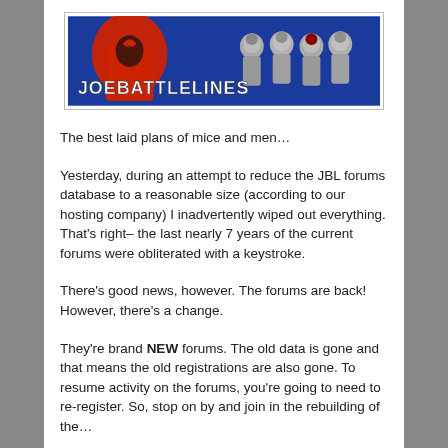[Figure (logo): JoeBattleLines website banner logo with red figure on left and silver armored figures on right against blue background, white text reading JOEBATTLELINES]
The best laid plans of mice and men…
Yesterday, during an attempt to reduce the JBL forums database to a reasonable size (according to our hosting company) I inadvertently wiped out everything.  That's right– the last nearly 7 years of the current forums were obliterated with a keystroke.
There's good news, however.  The forums are back!  However, there's a change.
They're brand NEW forums.  The old data is gone and that means the old registrations are also gone.  To resume activity on the forums, you're going to need to re-register.  So, stop on by and join in the rebuilding of the…